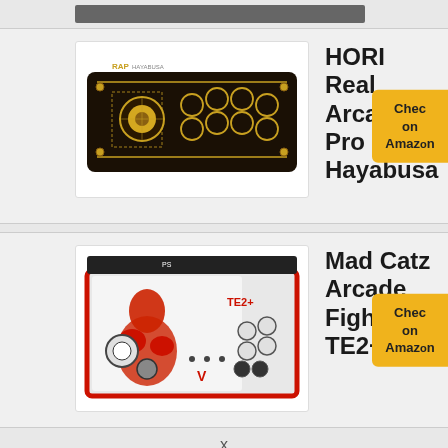[Figure (photo): Partial top image strip, cropped at top of page]
[Figure (photo): HORI Real Arcade Pro N Hayabusa arcade fight stick controller, black with gold accents and joystick]
HORI Real Arcade Pro N Hayabusa
Check on Amazon
[Figure (photo): Mad Catz Arcade FightStick TE2+ with Street Fighter V artwork, white and red]
Mad Catz Arcade FightStick TE2+
Check on Amazon
x